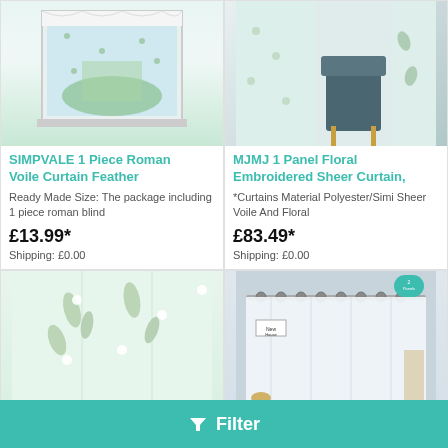[Figure (photo): Roman voile curtain with feather design on a window, white background]
SIMPVALE 1 Piece Roman Voile Curtain Feather
Ready Made Size: The package including 1 piece roman blind
£13.99*
Shipping: £0.00
[Figure (photo): Floral embroidered sheer curtain with chair in background]
MJMJ 1 Panel Floral Embroidered Sheer Curtain,
*Curtains Material Polyester/Simi Sheer Voile And Floral
£83.49*
Shipping: £0.00
[Figure (photo): Floral embroidered sheer curtain fabric close-up]
[Figure (photo): White sheer curtains on grommet rod in grey room]
Filter